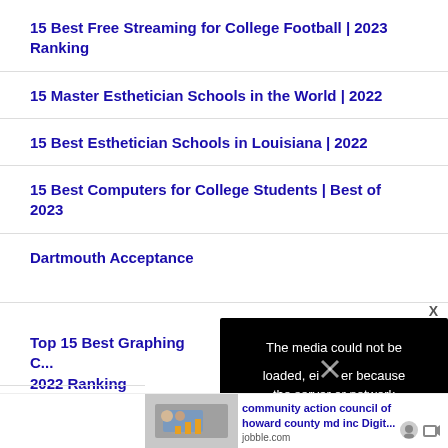15 Best Free Streaming for College Football | 2023 Ranking
15 Master Esthetician Schools in the World | 2022
15 Best Esthetician Schools in Louisiana | 2022
15 Best Computers for College Students | Best of 2023
Dartmouth Acceptance
Top 15 Best Graphing C... 2022 Ranking
Techu
[Figure (other): Video player error overlay: black box with text 'The media could not be loaded, either because the server or network failed or because the' and an X close button]
[Figure (other): Sponsored ad image thumbnail showing people around a laptop]
community action council of howard county md inc Digit... jobble.com